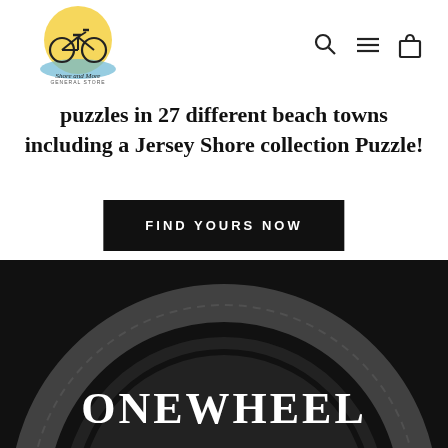Shore and More General Store — navigation header with logo and icons
puzzles in 27 different beach towns including a Jersey Shore collection Puzzle!
FIND YOURS NOW
[Figure (photo): Dark black section showing a large wheel/tire at the bottom with the text ONEWHEEL overlaid in white serif font]